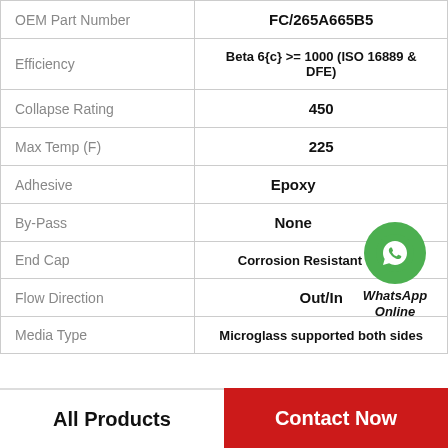| Property | Value |
| --- | --- |
| OEM Part Number | FC/265A665B5 |
| Efficiency | Beta 6{c} >= 1000 (ISO 16889 & DFE) |
| Collapse Rating | 450 |
| Max Temp (F) | 225 |
| Adhesive | Epoxy |
| By-Pass | None |
| End Cap | Corrosion Resistant CS/AL |
| Flow Direction | Out/In |
| Media Type | Microglass supported both sides |
[Figure (logo): WhatsApp Online green circle icon with phone symbol and text 'WhatsApp Online']
All Products | Contact Now